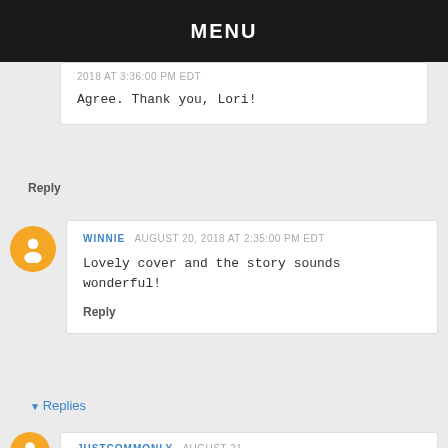MENU
2018 AT 3:36:00 PM EDT
Agree. Thank you, Lori!
Reply
WINNIE  AUGUST 20, 2018 AT 2:35:00 PM EDT
Lovely cover and the story sounds wonderful!
Reply
Replies
JUSTCOMMONLY  AUGUST 21,